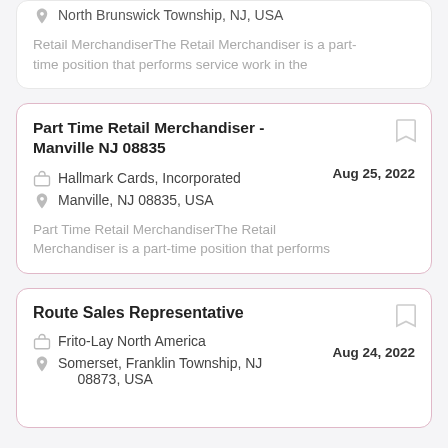North Brunswick Township, NJ, USA

Retail MerchandiserThe Retail Merchandiser is a part-time position that performs service work in the
Part Time Retail Merchandiser - Manville NJ 08835
Aug 25, 2022
Hallmark Cards, Incorporated
Manville, NJ 08835, USA
Part Time Retail MerchandiserThe Retail Merchandiser is a part-time position that performs
Route Sales Representative
Aug 24, 2022
Frito-Lay North America
Somerset, Franklin Township, NJ 08873, USA